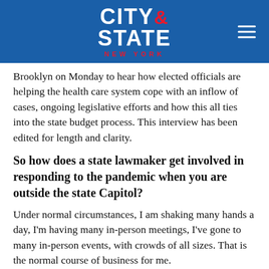CITY & STATE NEW YORK
Brooklyn on Monday to hear how elected officials are helping the health care system cope with an inflow of cases, ongoing legislative efforts and how this all ties into the state budget process. This interview has been edited for length and clarity.
So how does a state lawmaker get involved in responding to the pandemic when you are outside the state Capitol?
Under normal circumstances, I am shaking many hands a day, I'm having many in-person meetings, I've gone to many in-person events, with crowds of all sizes. That is the normal course of business for me.